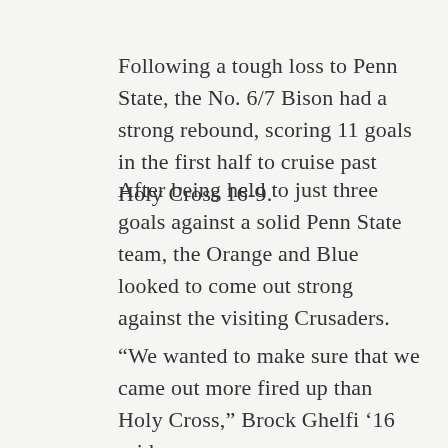Following a tough loss to Penn State, the No. 6/7 Bison had a strong rebound, scoring 11 goals in the first half to cruise past Holy Cross 16-9.
After being held to just three goals against a solid Penn State team, the Orange and Blue looked to come out strong against the visiting Crusaders.
“We wanted to make sure that we came out more fired up than Holy Cross,” Brock Ghelfi ’16 said.
The Bison looked like they were fired up as Ghelfi and Todd Heritage ’14 each scored in the opening five minutes to give the Bison an early